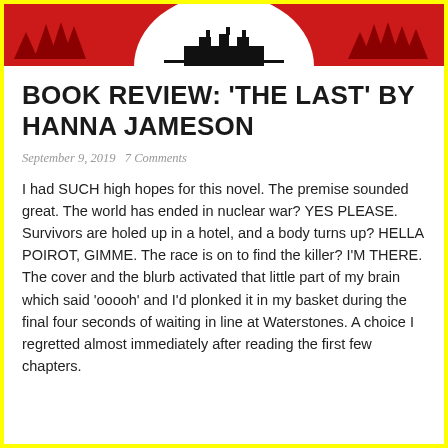[Figure (illustration): Red banner header with silhouette illustration of pine trees and a building/train station against a white semicircle, all in dark red/black on red background]
BOOK REVIEW: 'THE LAST' BY HANNA JAMESON
September 9, 2019   7 Comments
I had SUCH high hopes for this novel. The premise sounded great. The world has ended in nuclear war? YES PLEASE. Survivors are holed up in a hotel, and a body turns up? HELLA POIROT, GIMME. The race is on to find the killer? I’M THERE. The cover and the blurb activated that little part of my brain which said ‘ooooh’ and I’d plonked it in my basket during the final four seconds of waiting in line at Waterstones. A choice I regretted almost immediately after reading the first few chapters.